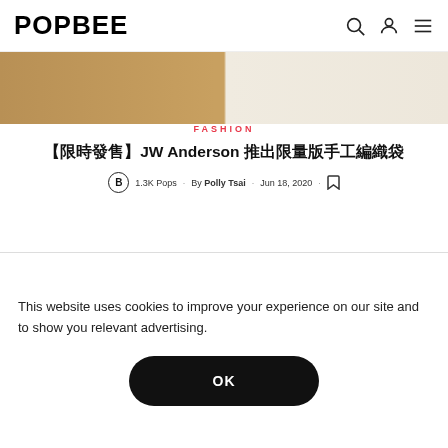POPBEE
[Figure (photo): Top image strip showing baked goods on left half and cream/beige background on right half]
FASHION
【限時發售】JW Anderson 推出限量版手工編織袋
1.3K Pops · By Polly Tsai · Jun 18, 2020 ·
[Figure (photo): A person's hand near a white wall on the left, and a white tote bag with handles against a wooden surface on the right]
This website uses cookies to improve your experience on our site and to show you relevant advertising.